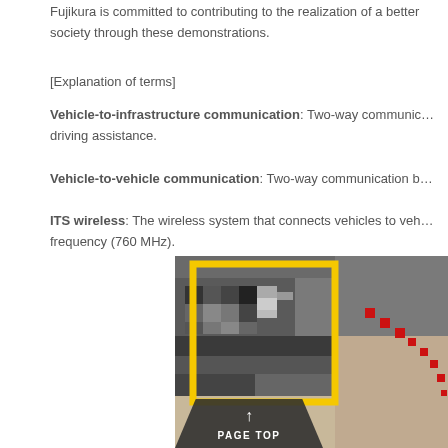Fujikura is committed to contributing to the realization of a better society through these demonstrations.
[Explanation of terms]
Vehicle-to-infrastructure communication: Two-way communication between vehicles and road-side units to support driving assistance.
Vehicle-to-vehicle communication: Two-way communication between vehicles.
ITS wireless: The wireless system that connects vehicles to vehicles and infrastructure using a dedicated frequency (760 MHz).
[Figure (photo): A photo showing vehicle exterior with a yellow highlighted box overlay and red dotted pattern on the right side, with a PAGE TOP button at the bottom.]